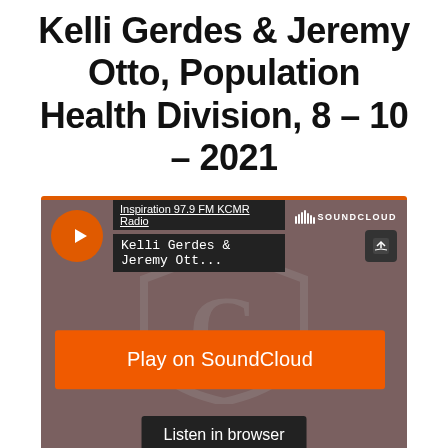Kelli Gerdes & Jeremy Otto, Population Health Division, 8 – 10 – 2021
[Figure (screenshot): SoundCloud embedded player widget showing a track by Kelli Gerdes & Jeremy Ott... from Inspiration 97.9 FM KCMR Radio, with orange play button, 'Play on SoundCloud' and 'Listen in browser' buttons, dark brownish background with a faint 'G' shield logo and 'PUBLIC' text watermark.]